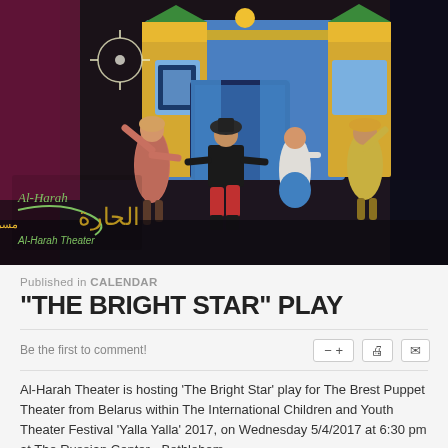[Figure (photo): Theater performance photo showing costumed performers dancing on stage with a colorful puppet theater set in the background. Al-Harah Theater logo and Arabic text visible in lower left corner.]
Published in CALENDAR
"THE BRIGHT STAR" PLAY
Be the first to comment!
Al-Harah Theater is hosting 'The Bright Star' play for The Brest Puppet Theater from Belarus within The International Children and Youth Theater Festival 'Yalla Yalla' 2017, on Wednesday 5/4/2017 at 6:30 pm at The Russian Center - Bethlehem.